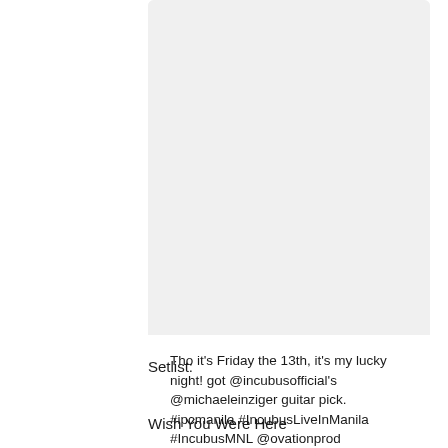[Figure (photo): Instagram photo embed card showing a gray placeholder image area at the top]
Tho it's Friday the 13th, it's my lucky night! got @incubusofficial's @michaeleinziger guitar pick. #ipcmanila #IncubusLiveInManila #IncubusMNL @ovationprod @gracilicious70
A photo posted by Manila Concert Junkies (@...
Setlist:
Wish You Were Here